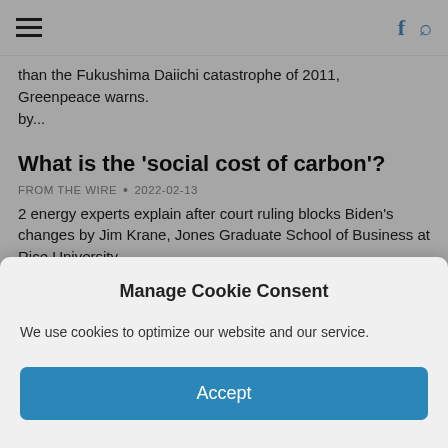Navigation header with hamburger menu, Facebook icon, and search icon
than the Fukushima Daiichi catastrophe of 2011,  Greenpeace warns. by...
What is the 'social cost of carbon'?
FROM THE WIRE  •  2022-02-13
2 energy experts explain after court ruling blocks Biden's changes by Jim Krane, Jones Graduate School of Business at Rice University...
Ruling on rooftop solar, clean energy 'game-changer'
FROM THE WIRE  •  2022-02-01
"For the first time a federal court has said utilities can be liable under antitrust laws if they attack rooftop...
ENVIRONMENT-WATER
Partial title (clipped)
Manage Cookie Consent
We use cookies to optimize our website and our service.
Accept